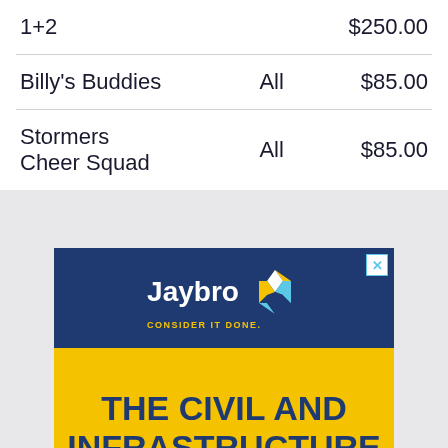| 1+2 |  | $250.00 |
| Billy's Buddies | All | $85.00 |
| Stormers
Cheer Squad | All | $85.00 |
[Figure (logo): Jaybro advertisement. Header with dark navy background showing Jaybro logo and tagline 'CONSIDER IT DONE.' with a geometric diamond-shaped icon. Yellow body with text 'THE CIVIL AND INFRASTRUCTURE SUPPLY EXPERTS' in dark navy bold font.]